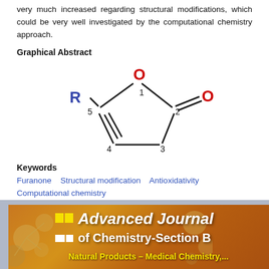very much increased regarding structural modifications, which could be very well investigated by the computational chemistry approach.
Graphical Abstract
[Figure (schematic): Chemical structure of furanone ring with R group at position 5, oxygen at position 1, carbonyl group (C=O) at position 2, and numbered ring positions 3 and 4.]
Keywords
Furanone   Structural modification   Antioxidativity
Computational chemistry
20.1001.1.27169634.2020.2.1.6.7
+ References
[Figure (logo): Advanced Journal of Chemistry-Section B journal banner with golden/brown background, molecular structure decorations, yellow and white bars, and journal title text.]